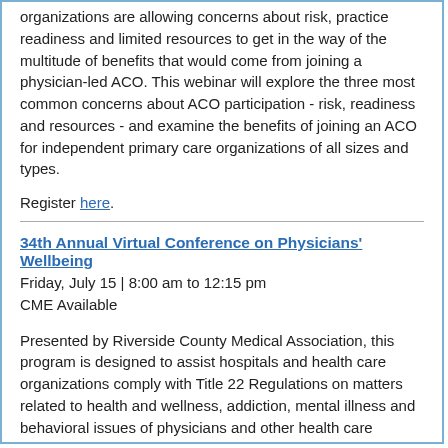organizations are allowing concerns about risk, practice readiness and limited resources to get in the way of the multitude of benefits that would come from joining a physician-led ACO. This webinar will explore the three most common concerns about ACO participation - risk, readiness and resources - and examine the benefits of joining an ACO for independent primary care organizations of all sizes and types.
Register here.
34th Annual Virtual Conference on Physicians' Wellbeing
Friday, July 15 | 8:00 am to 12:15 pm
CME Available
Presented by Riverside County Medical Association, this program is designed to assist hospitals and health care organizations comply with Title 22 Regulations on matters related to health and wellness, addiction, mental illness and behavioral issues of physicians and other health care providers. This event is endorsed by CMA. Registration is $169, with a discounted price of $50 for residents and medical students.
Register here.